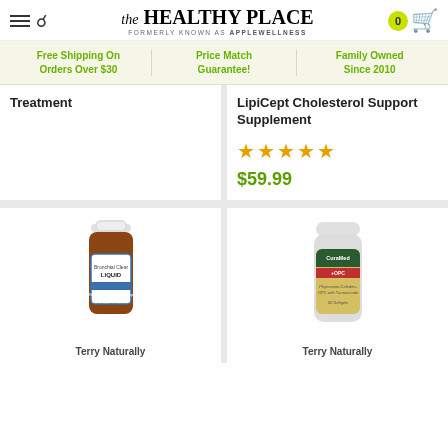the HEALTHY PLACE formerly known as applewellness — cart: 0
Free Shipping On Orders Over $30 | Price Match Guarantee! | Family Owned Since 2010
Treatment
LipiCept Cholesterol Support Supplement ★★★★★ $59.99
[Figure (photo): Brown liquid supplement bottle - Terry Naturally Bronchial Clear Liquid]
Terry Naturally
[Figure (photo): White supplement bottle - Terry Naturally CuraMed +OPC]
Terry Naturally